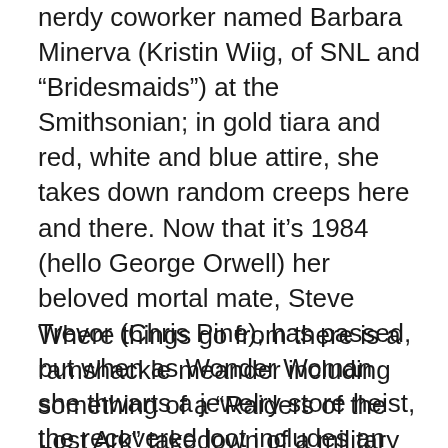nerdy coworker named Barbara Minerva (Kristin Wiig, of SNL and “Bridesmaids”) at the Smithsonian; in gold tiara and red, white and blue attire, she takes down random creeps here and there. Now that it’s 1984 (hello George Orwell) her beloved mortal mate, Steve Trevor (Chris Pine), has passed, but when as Wonder Woman she thwarts a jewelry store heist, the recovered loot includes an antiquity known as the Dreamstone that will grant the possessor their wish. Diana’s brings a cost: Her super powers ebb, and when Barbara gets chance at the stone, she wishes to be like Diana.
Where things go from there is a ramshackle meander including something of a “Raiders of the Lost Ark” takedown of a military caravan, a #MeToo kick in which Diana and an enhanced Barbara give the same lech his due, and then there’s Maxwell Lord (“Game of Thrones”,